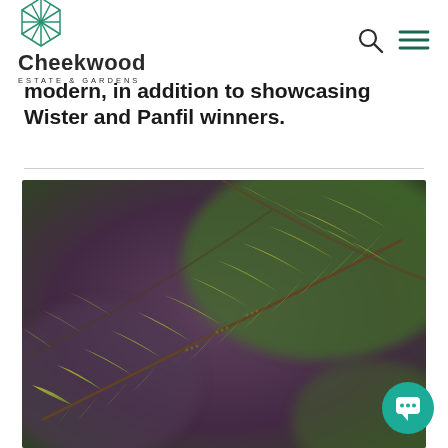Cheekwood Estate & Gardens
modern, in addition to showcasing Wister and Panhil winners.
[Figure (photo): Close-up photograph of a green and golden-yellow fern frond with detailed leaflets, set against a blurred purple and green background.]